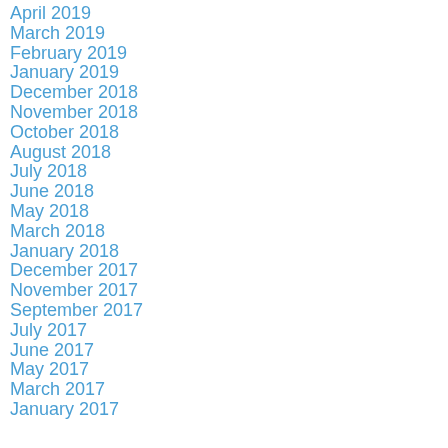April 2019
March 2019
February 2019
January 2019
December 2018
November 2018
October 2018
August 2018
July 2018
June 2018
May 2018
March 2018
January 2018
December 2017
November 2017
September 2017
July 2017
June 2017
May 2017
March 2017
January 2017